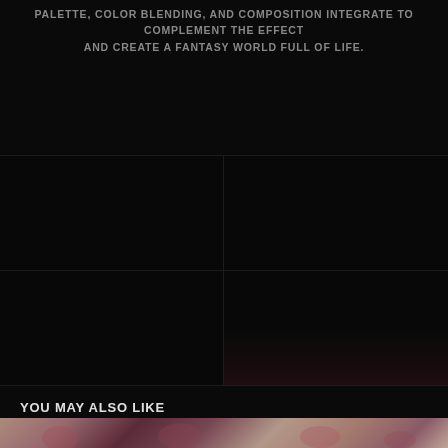PALETTE, COLOR BLENDING, AND COMPOSITION INTEGRATE TO COMPLEMENT THE EFFECT AND CREATE A FANTASY WORLD FULL OF LIFE.
[Figure (illustration): Dark grid of four image panels (2x2), largely black/dark with faint fantasy illustration content visible in the lower-right cell with reddish-brown tones.]
YOU MAY ALSO LIKE
[Figure (illustration): Partial bottom strip showing fantasy illustration figures in warm rosy/mauve tones — appears to be the top of a 'you may also like' content section.]